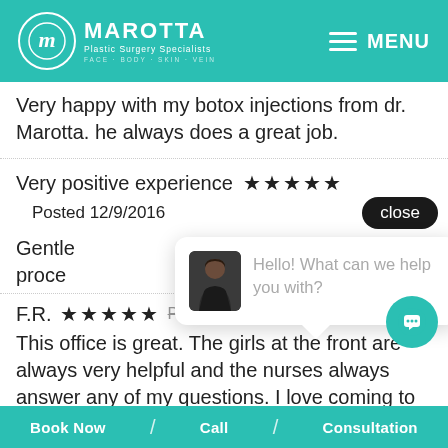[Figure (logo): Marotta Plastic Surgery Specialists logo with circular m icon, white text on teal header background, MENU icon top right]
Very happy with my botox injections from dr. Marotta. he always does a great job.
Very positive experience ★★★★★
Posted 12/9/2016
Gentle proc...
F.R. ★★★★★  Posted 12/8/2016
This office is great. The girls at the front are always very helpful and the nurses always answer any of my questions. I love coming to
[Figure (screenshot): Chat widget overlay showing staff avatar photo and text: Hello! What can we help you with?]
Book Now  /  Call  /  Consultation